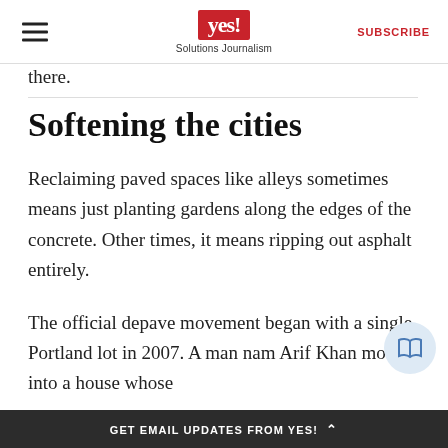yes! Solutions Journalism | SUBSCRIBE
there.
Softening the cities
Reclaiming paved spaces like alleys sometimes means just planting gardens along the edges of the concrete. Other times, it means ripping out asphalt entirely.
The official depave movement began with a single Portland lot in 2007. A man named Arif Khan moved into a house whose
GET EMAIL UPDATES FROM YES! ^